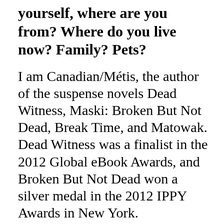yourself, where are you from? Where do you live now? Family? Pets?
I am Canadian/Métis, the author of the suspense novels Dead Witness, Maski: Broken But Not Dead, Break Time, and Matowak. Dead Witness was a finalist in the 2012 Global eBook Awards, and Broken But Not Dead won a silver medal in the 2012 IPPY Awards in New York.
Born in Portage La Prairie,